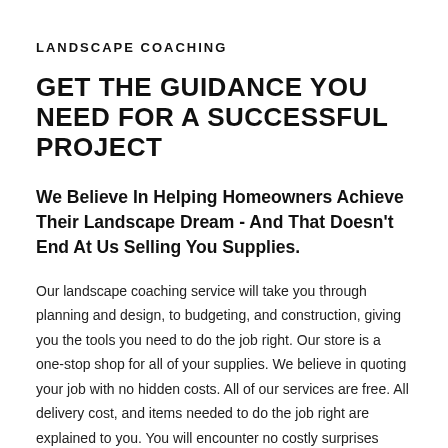LANDSCAPE COACHING
GET THE GUIDANCE YOU NEED FOR A SUCCESSFUL PROJECT
We Believe In Helping Homeowners Achieve Their Landscape Dream - And That Doesn’t End At Us Selling You Supplies.
Our landscape coaching service will take you through planning and design, to budgeting, and construction, giving you the tools you need to do the job right. Our store is a one-stop shop for all of your supplies. We believe in quoting your job with no hidden costs. All of our services are free. All delivery cost, and items needed to do the job right are explained to you. You will encounter no costly surprises once you are already started the